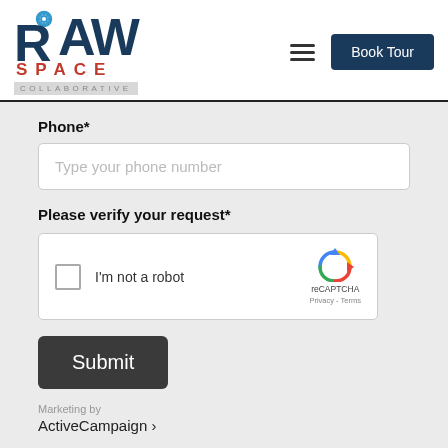[Figure (logo): RAW Space Collaborative logo with gear icon, dark navy RAW letters, red SPACE text, grey COLLABORATIVE text on grey background bar]
[Figure (screenshot): Book Tour button (dark navy background, white text) and hamburger menu icon in the header navigation]
Phone*
[Figure (screenshot): Phone number text input field with placeholder text 'Type your phone number']
Please verify your request*
[Figure (screenshot): reCAPTCHA widget with checkbox labeled 'I'm not a robot' and reCAPTCHA logo with Privacy and Terms links]
[Figure (screenshot): Submit button in dark grey/charcoal color with white text]
Marketing by
ActiveCampaign >